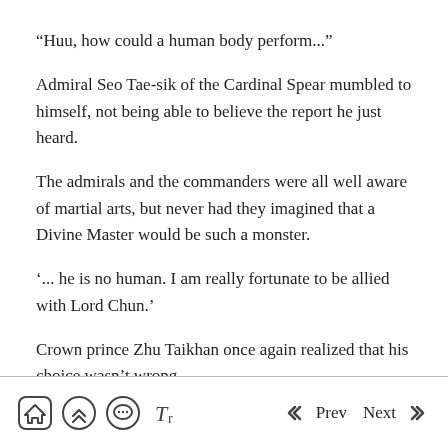“Huu, how could a human body perform...”
Admiral Seo Tae-sik of the Cardinal Spear mumbled to himself, not being able to believe the report he just heard.
The admirals and the commanders were all well aware of martial arts, but never had they imagined that a Divine Master would be such a monster.
‘... he is no human. I am really fortunate to be allied with Lord Chun.’
Crown prince Zhu Taikhan once again realized that his choice wasn’t wrong.
Home  Scroll up  Chat  Font  Prev  Next